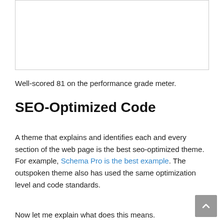[Figure (other): White box with border, likely containing an image or screenshot (content not visible)]
Well-scored 81 on the performance grade meter.
SEO-Optimized Code
A theme that explains and identifies each and every section of the web page is the best seo-optimized theme. For example, Schema Pro is the best example. The outspoken theme also has used the same optimization level and code standards.
Now let me explain what does this means.